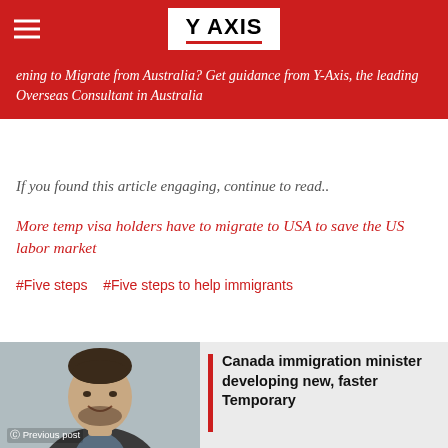Y AXIS
Planning to Migrate from Australia? Get guidance from Y-Axis, the leading Overseas Consultant in Australia
If you found this article engaging, continue to read..
More temp visa holders have to migrate to USA to save the US labor market
#Five steps   #Five steps to help immigrants
[Figure (photo): Headshot of a smiling man in a suit jacket with short dark hair and beard]
Canada immigration minister developing new, faster Temporary